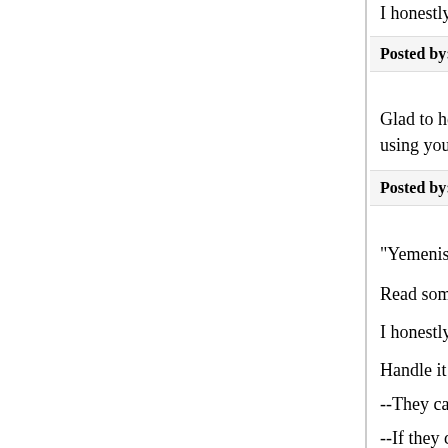I honestly don't see any sane decent way out of t…
Posted by: bob mcmanus | March 15, 2005 at 03:53 PM
Glad to hear they will be picking up on it Katherin… using you as a resource rather than the reverse. …
Posted by: Sebastian Holsclaw | March 15, 2005 at 03:56 PM
"Yemenis Transfer from Guantanamo Blocked
Read somewhere today that half of the detainees…
I honestly don't see any sane decent way out of th…
Handle it like a "deferral of removal" case under U…
--They can choose to take their chances in their c…
--If they don't want to, but if we can prove to an in… it's less likely than not that they'll be tortured, fine…
--If we can't, they get deferral of removal, but they… come to the U.S. mainland.
--If there is another country that will accept them a… should release them there subject to reasonable … security. If some rogue state, equivalent to Taliban… them because they want to train them to wage ter…